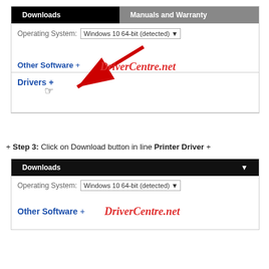[Figure (screenshot): Website screenshot showing Downloads and Manuals and Warranty tabs, Operating System dropdown set to Windows 10 64-bit (detected), Other Software + link, and Drivers + link with a red arrow pointing to it and DriverCentre.net watermark]
+ Step 3: Click on Download button in line Printer Driver +
[Figure (screenshot): Website screenshot showing Downloads section with Operating System dropdown set to Windows 10 64-bit (detected), and Other Software + link with DriverCentre.net watermark]